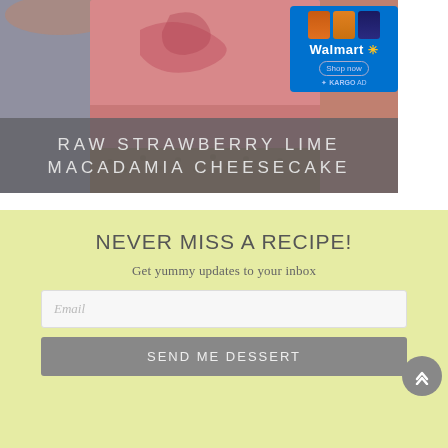[Figure (photo): Close-up photo of a slice of Raw Strawberry Lime Macadamia Cheesecake with a pink creamy layer and a golden nut crust, with a Walmart advertisement overlay in the top right corner]
RAW STRAWBERRY LIME MACADAMIA CHEESECAKE
NEVER MISS A RECIPE!
Get yummy updates to your inbox
Email
SEND ME DESSERT